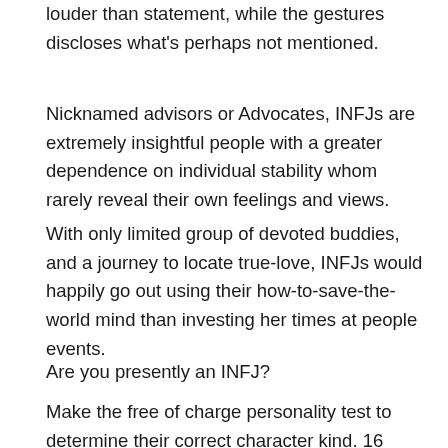louder than statement, while the gestures discloses what's perhaps not mentioned.
Nicknamed advisors or Advocates, INFJs are extremely insightful people with a greater dependence on individual stability whom rarely reveal their own feelings and views.
With only limited group of devoted buddies, and a journey to locate true-love, INFJs would happily go out using their how-to-save-the-world mind than investing her times at people events.
Are you presently an INFJ?
Make the free of charge personality test to determine their correct character kind. 16 individuality kinds test shows the person you normally is and just why you are doing situations the way you do. With this specific understanding of yourself, you can easily develop effective confessions, get a hold of a